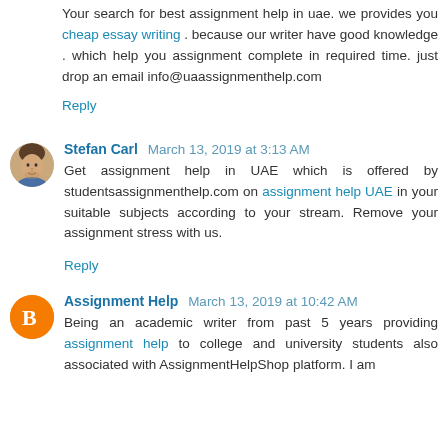Your search for best assignment help in uae. we provides you cheap essay writing . because our writer have good knowledge . which help you assignment complete in required time. just drop an email info@uaassignmenthelp.com
Reply
Stefan Carl  March 13, 2019 at 3:13 AM
Get assignment help in UAE which is offered by studentsassignmenthelp.com on assignment help UAE in your suitable subjects according to your stream. Remove your assignment stress with us.
Reply
Assignment Help  March 13, 2019 at 10:42 AM
Being an academic writer from past 5 years providing assignment help to college and university students also associated with AssignmentHelpShop platform. I am